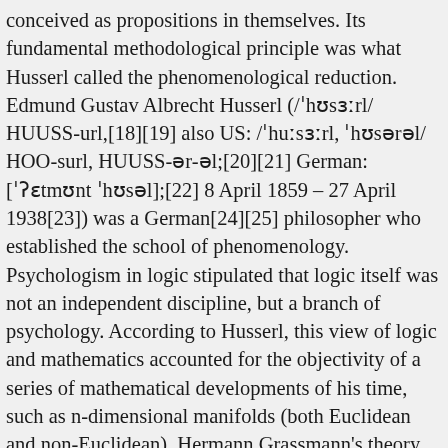conceived as propositions in themselves. Its fundamental methodological principle was what Husserl called the phenomenological reduction. Edmund Gustav Albrecht Husserl (/ˈhʊsɜːrl/ HUUSS-url,[18][19] also US: /ˈhuːsɜːrl, ˈhʊsərəl/ HOO-surl, HUUSS-ər-əl;[20][21] German: [ˈʔɛtmʊnt ˈhʊsəl];[22] 8 April 1859 – 27 April 1938[23]) was a German[24][25] philosopher who established the school of phenomenology. Psychologism in logic stipulated that logic itself was not an independent discipline, but a branch of psychology. According to Husserl, this view of logic and mathematics accounted for the objectivity of a series of mathematical developments of his time, such as n-dimensional manifolds (both Euclidean and non-Euclidean), Hermann Grassmann's theory of extensions, William Rowan Hamilton's Hamiltonians, Sophus Lie's theory of transformation groups, and Cantor's set theory. Moreover, Husserl did